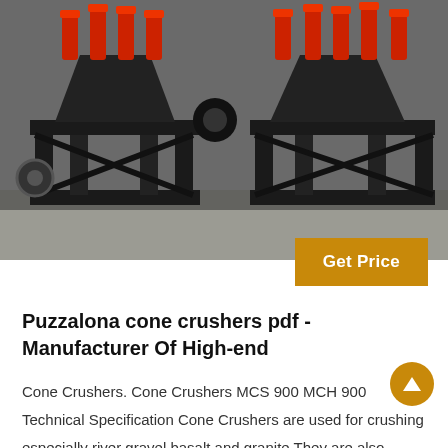[Figure (photo): Industrial cone crusher machines in a factory/warehouse setting. Large black metal-framed cone crushers with red hydraulic cylinders on top, arranged in a row on a concrete floor.]
Get Price
Puzzalona cone crushers pdf - Manufacturer Of High-end
Cone Crushers. Cone Crushers MCS 900 MCH 900 Technical Specification Cone Crushers are used for crushing especially river gravel basalt and granite They are also operated to crush hard and abrasive materials in iron chrome magnesite and copper mines Cone crusher has been used as primary secondary and tertiary crushers for a long time